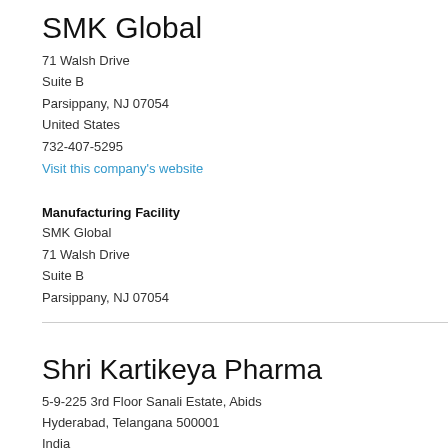SMK Global
71 Walsh Drive
Suite B
Parsippany, NJ 07054
United States
732-407-5295
Visit this company's website
Manufacturing Facility
SMK Global
71 Walsh Drive
Suite B
Parsippany, NJ 07054
Shri Kartikeya Pharma
5-9-225 3rd Floor Sanali Estate, Abids
Hyderabad, Telangana 500001
India
91 40 2320 4385
Visit this company's website